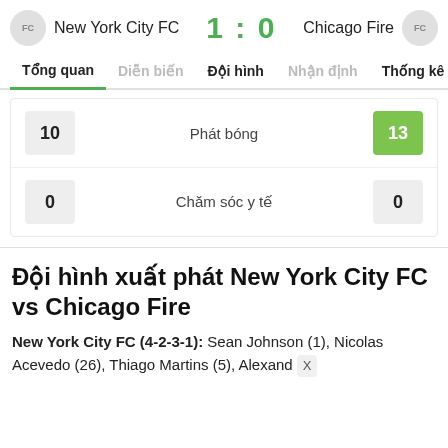New York City FC  1 : 0  Chicago Fire
Tổng quan   Diễn biến   Đội hình   Nhận định   Thống kê   Đ
| Left Value | Stat | Right Value |
| --- | --- | --- |
| 10 | Phát bóng | 13 |
| 0 | Chăm sóc y tế | 0 |
Đội hình xuất phát New York City FC vs Chicago Fire
New York City FC (4-2-3-1): Sean Johnson (1), Nicolas Acevedo (26), Thiago Martins (5), Alexandre X